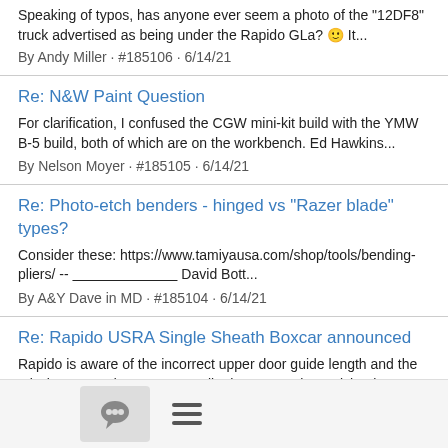Speaking of typos, has anyone ever seem a photo of the "12DF8" truck advertised as being under the Rapido GLa? ☺ It...
By Andy Miller · #185106 · 6/14/21
Re: N&W Paint Question
For clarification, I confused the CGW mini-kit build with the YMW B-5 build, both of which are on the workbench. Ed Hawkins...
By Nelson Moyer · #185105 · 6/14/21
Re: Photo-etch benders - hinged vs "Razer blade" types?
Consider these: https://www.tamiyausa.com/shop/tools/bending-pliers/ -- ___________________________ David Bott...
By A&Y Dave in MD · #185104 · 6/14/21
Re: Rapido USRA Single Sheath Boxcar announced
Rapido is aware of the incorrect upper door guide length and the missing upper door stop as well. They are on it! -- Michael...